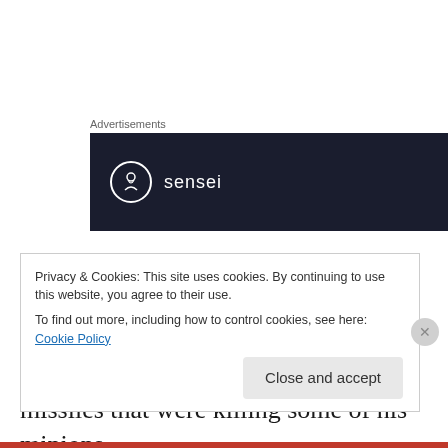Advertisements
[Figure (logo): Sensei logo: white circular icon with a stylized tree/person symbol and the word 'sensei' in white text on a dark navy background]
Most analysts believe bin Laden left the tribal areas of Pakistan and moved to a compound just outside the capital to escape the rain of American drone missiles that were killing some of his minions.
Privacy & Cookies: This site uses cookies. By continuing to use this website, you agree to their use.
To find out more, including how to control cookies, see here: Cookie Policy